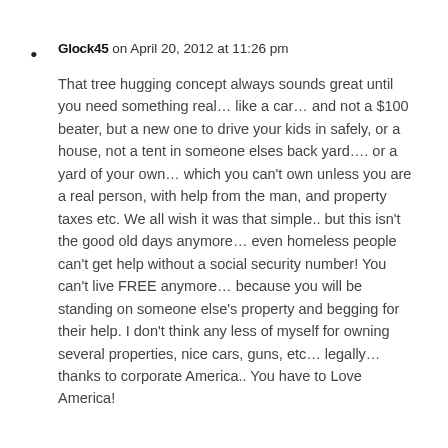Glock45 on April 20, 2012 at 11:26 pm
That tree hugging concept always sounds great until you need something real… like a car… and not a $100 beater, but a new one to drive your kids in safely, or a house, not a tent in someone elses back yard…. or a yard of your own… which you can't own unless you are a real person, with help from the man, and property taxes etc. We all wish it was that simple.. but this isn't the good old days anymore… even homeless people can't get help without a social security number! You can't live FREE anymore… because you will be standing on someone else's property and begging for their help. I don't think any less of myself for owning several properties, nice cars, guns, etc… legally… thanks to corporate America.. You have to Love America!